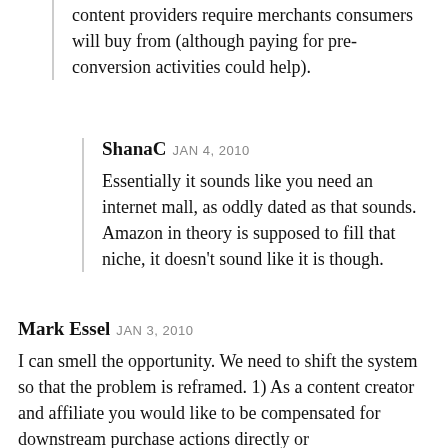content providers require merchants consumers will buy from (although paying for pre-conversion activities could help).
ShanaC JAN 4, 2010
Essentially it sounds like you need an internet mall, as oddly dated as that sounds. Amazon in theory is supposed to fill that niche, it doesn't sound like it is though.
Mark Essel JAN 3, 2010
I can smell the opportunity. We need to shift the system so that the problem is reframed. 1) As a content creator and affiliate you would like to be compensated for downstream purchase actions directly or